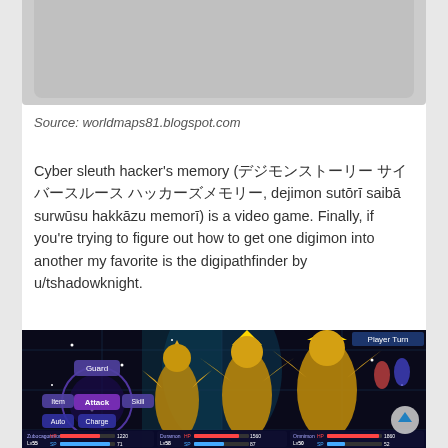[Figure (photo): Partial view of a grey/silver image at the top of the page, partially cropped]
Source: worldmaps81.blogspot.com
Cyber sleuth hacker's memory (デジモンストーリー サイバースルース ハッカーズメモリー, dejimon sutōrī saibā surwūsu hakkāzu memorī) is a video game. Finally, if you're trying to figure out how to get one digimon into another my favorite is the digipathfinder by u/tshadowknight.
[Figure (screenshot): Screenshot from Digimon Story: Cyber Sleuth - Hacker's Memory video game showing battle scene with golden Digimon characters, battle menu with Guard/Attack/Skill/Item/Auto/Charge options, and player HUD showing Zubocagonmon Lv55, Duramon Lv58, and another Digimon Lv50 with HP bars]